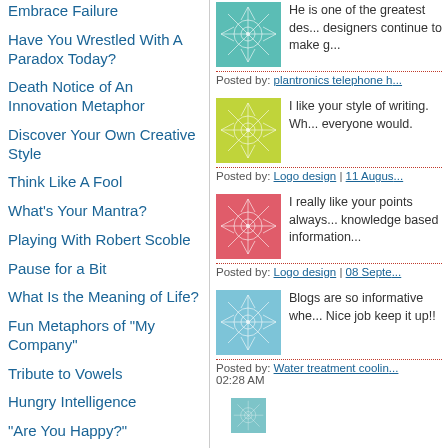Embrace Failure
Have You Wrestled With A Paradox Today?
Death Notice of An Innovation Metaphor
Discover Your Own Creative Style
Think Like A Fool
What's Your Mantra?
Playing With Robert Scoble
Pause for a Bit
What Is the Meaning of Life?
Fun Metaphors of "My Company"
Tribute to Vowels
Hungry Intelligence
"Are You Happy?"
He is one of the greatest des... designers continue to make g...
Posted by: plantronics telephone h...
I like your style of writing. Wh... everyone would.
Posted by: Logo design | 11 Augus...
I really like your points always... knowledge based information...
Posted by: Logo design | 08 Septe...
Blogs are so informative whe... Nice job keep it up!!
Posted by: Water treatment coolin... 02:28 AM